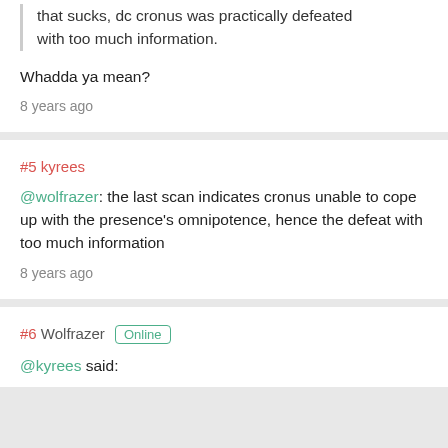that sucks, dc cronus was practically defeated with too much information.
Whadda ya mean?
8 years ago
#5 kyrees
@wolfrazer: the last scan indicates cronus unable to cope up with the presence's omnipotence, hence the defeat with too much information
8 years ago
#6 Wolfrazer Online
@kyrees said: